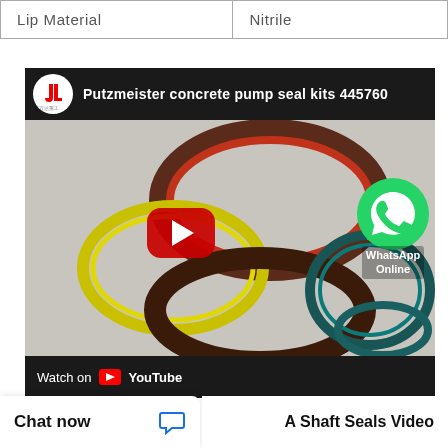| Lip Material | Nitrile |
[Figure (screenshot): YouTube video thumbnail showing Putzmeister concrete pump seal kits 445760, featuring multiple rubber sealing rings (red/brown, yellow, dark brown, teal) on a light background. A WhatsApp Online chat badge is overlaid. Bottom bar shows 'Watch on YouTube'.]
Chat now
A Shaft Seals Video